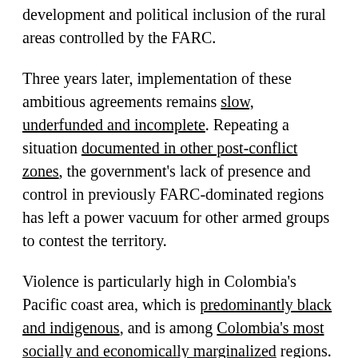development and political inclusion of the rural areas controlled by the FARC.
Three years later, implementation of these ambitious agreements remains slow, underfunded and incomplete. Repeating a situation documented in other post-conflict zones, the government's lack of presence and control in previously FARC-dominated regions has left a power vacuum for other armed groups to contest the territory.
Violence is particularly high in Colombia's Pacific coast area, which is predominantly black and indigenous, and is among Colombia's most socially and economically marginalized regions. But it is rich in resources like gold and coca, the traditional Andean crop used to make cocaine – both lucrative income sources which help fund the illegal activities of armed groups.